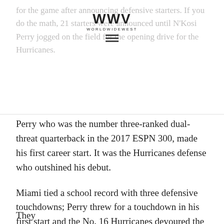WORLDWIDEWEST
for the game after announcing defensive starters. If you do the math, 21 starters were announced until N'Kosi Perry jogged on the field for the opening drive for the Hurricanes.
Perry who was the number three-ranked dual-threat quarterback in the 2017 ESPN 300, made his first career start. It was the Hurricanes defense who outshined his debut.
Miami tied a school record with three defensive touchdowns; Perry threw for a touchdown in his first start and the No. 16 Hurricanes devoured the Tar Heels 47-10.
“It was a sight to see,” Miami defensive coordinator Manny Diaz said. “We always say, turnovers, they seem to come in bunches. The fact that we turned defense into offense on those was quite a sight to see.”
They even ranked...